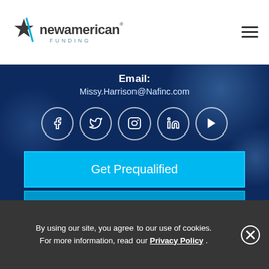[Figure (logo): New American Funding logo with star icon on the left and text 'newamerican FUNDING']
Email:
Missy.Harrison@Nafinc.com
[Figure (infographic): Row of 5 social media icon circles: Facebook, Twitter, Instagram, LinkedIn, YouTube]
Get Prequalified
Contact Me
By using our site, you agree to our use of cookies. For more information, read our Privacy Policy .